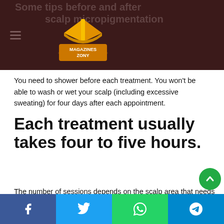Some tips before and after scalp micropigmentation
[Figure (logo): Magazines Zony logo — orange book icon with 'MAGAZINES ZONY' text]
You need to shower before each treatment. You won't be able to wash or wet your scalp (including excessive sweating) for four days after each appointment.
Each treatment usually takes four to five hours.
The number of sessions depends on the scalp area that needs micropigmentation and the difficulty level. You need to be patient and follow the entire course for long-term results.
Treatments will be schedule